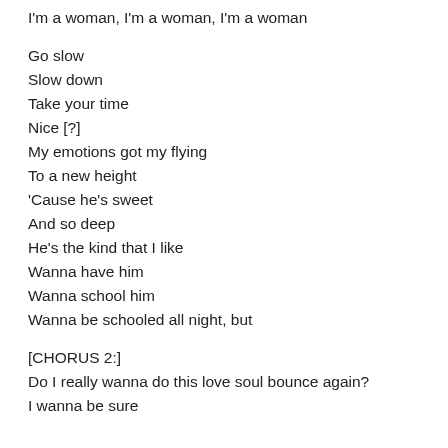I'm a woman, I'm a woman, I'm a woman
Go slow
Slow down
Take your time
Nice [?]
My emotions got my flying
To a new height
‘Cause he’s sweet
And so deep
He’s the kind that I like
Wanna have him
Wanna school him
Wanna be schooled all night, but
[CHORUS 2:]
Do I really wanna do this love soul bounce again?
I wanna be sure